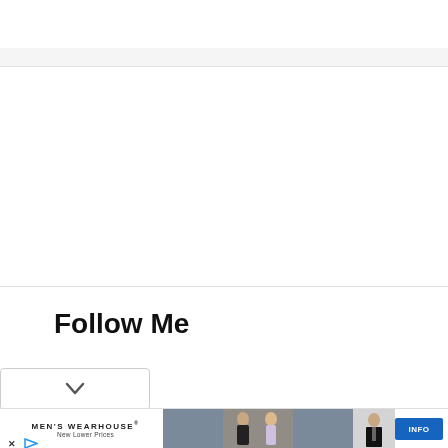Follow Me
[Figure (screenshot): Dropdown button with chevron/arrow pointing downward, with rounded border]
[Figure (photo): Men's Wearhouse advertisement showing a couple dressed formally (man in tuxedo, woman in gown) outdoors, a man in a black tuxedo, and an INFO button. Ad icons include close (x) and play button. Text: MEN'S WEARHOUSE New Lower Prices]